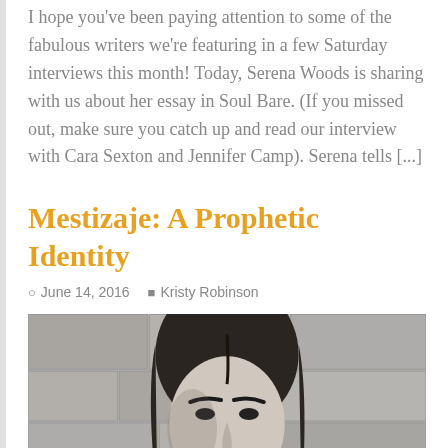I hope you've been paying attention to some of the fabulous writers we're featuring in a few Saturday interviews this month! Today, Serena Woods is sharing with us about her essay in Soul Bare. (If you missed out, make sure you catch up and read our interview with Cara Sexton and Jennifer Camp). Serena tells [...]
Mestizaje: A Prophetic Identity
June 14, 2016  Kristy Robinson
[Figure (photo): Black and white portrait photo of a young woman with long dark hair leaning against a stone wall, looking slightly to the side]